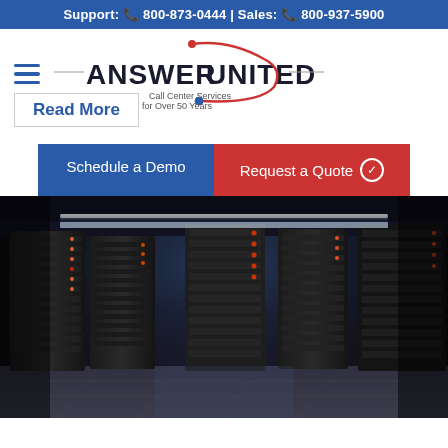Support: 800-873-0444 | Sales: 800-937-5900
[Figure (logo): Answer United logo with swoosh arc and text 'Call Center Services for Over 50 Years']
Read More
Schedule a Demo
Request a Quote
[Figure (photo): Server room with rows of tall black server racks illuminated with blue/white lighting stretching into the distance]